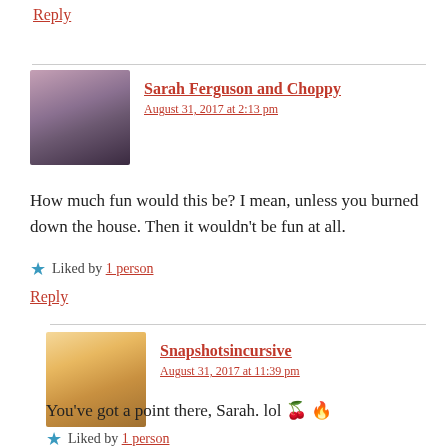Reply
Sarah Ferguson and Choppy
August 31, 2017 at 2:13 pm
How much fun would this be? I mean, unless you burned down the house. Then it wouldn't be fun at all.
Liked by 1 person
Reply
Snapshotsincursive
August 31, 2017 at 11:39 pm
You've got a point there, Sarah. lol 🍒 🔥
Liked by 1 person